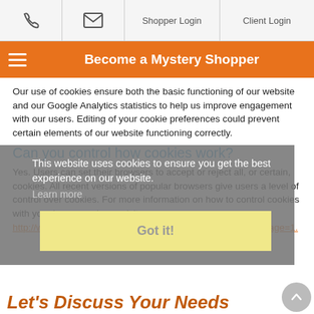Phone | Email | Shopper Login | Client Login
Become a Mystery Shopper
Our use of cookies ensure both the basic functioning of our website and our Google Analytics statistics to help us improve engagement with our users. Editing of your cookie preferences could prevent certain elements of our website functioning correctly.
Can you control how cookies work?
Yes. Users can set their browsers to accept or reject all, or certain, cookies. All recent versions of popular browsers give users a level of control over cookies. For more information on how to control cookies with your browser, please visit http://www.allaboutcookies.org/manage-cookies/index.html?page=1.
This website uses cookies to ensure you get the best experience on our website.
Learn more
Got it!
Let's Discuss Your Needs